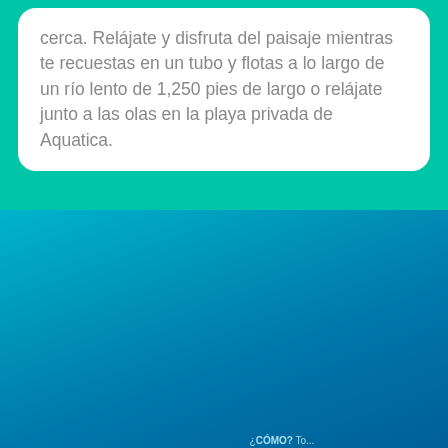cerca. Relájate y disfruta del paisaje mientras te recuestas en un tubo y flotas a lo largo de un río lento de 1,250 pies de largo o relájate junto a las olas en la playa privada de Aquatica.
[Figure (infographic): Infographic with a cloud-shaped badge asking '¿Te preguntas cómo podemos ofrecerte un precio tan bajo?' on a teal/blue gradient background, with explanatory text about Magical Getaway finding sponsors to pay for vacations.]
¿Te preguntas cómo podemos ofrecerte un precio tan bajo?
En Magical Getaway trabajamos muy duro buscando patrocinadores que estén dispuestos a pagar parte de tus vacaciones.
¿PORQUÉ? Porque no hay mejor manera de dar a conocer su producto que mostrártelo en persona.